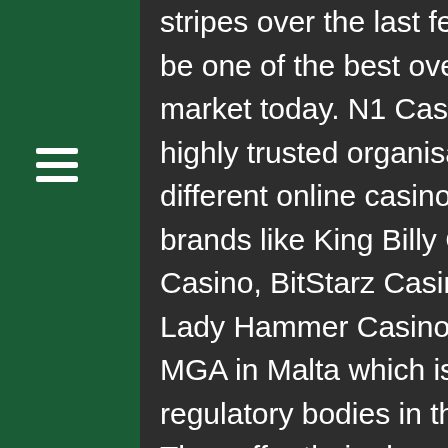[Figure (other): Hamburger menu icon (three horizontal white lines) on a dark green background]
stripes over the last few years and is considered to be one of the best overall online casinos in the market today. N1 Casino is operated by Direx N.V., a highly trusted organisation that operates over 20 different online casinos consisting of top performing brands like King Billy Casino, Joo Casino, Loki Casino, BitStarz Casino, Wild Tornado Casino and Lady Hammer Casino. N1 Casino is licensed by the MGA in Malta which is one of the most respected regulatory bodies in the online gambling industry. They offer their players an excellent game portfolio of over 2.000 games by top game providers like NetEnt, NYX, Microgaming, Betsoft, Elk, Play'N GO, Thunderkick and Amatic. On top of a very wide game selection N1 Casino also offers their customers great service around the clock and even better bonuses and promotions. And this last part is what we want to know more about and we are going to look at in the next section.